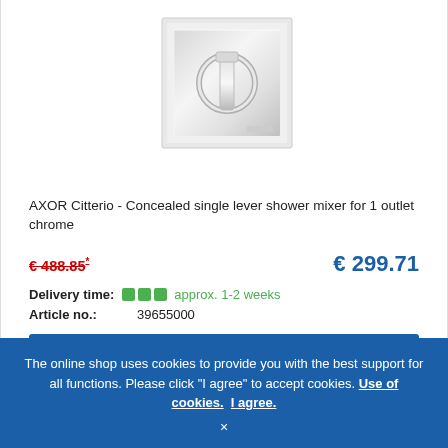[Figure (photo): AXOR Citterio concealed single lever shower mixer chrome product photo on white background]
AXOR Citterio - Concealed single lever shower mixer for 1 outlet chrome
€ 488.85* (strikethrough old price) € 299.71 (current price)
Delivery time: approx. 1-2 weeks
Article no.: 39655000
ADD TO CART
The online shop uses cookies to provide you with the best support for all functions. Please click "I agree" to accept cookies. Use of cookies. I agree. ×